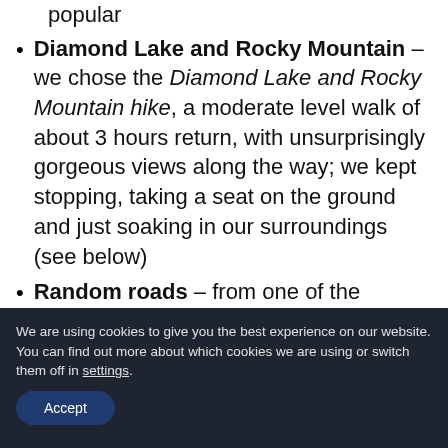popular
Diamond Lake and Rocky Mountain – we chose the Diamond Lake and Rocky Mountain hike, a moderate level walk of about 3 hours return, with unsurprisingly gorgeous views along the way; we kept stopping, taking a seat on the ground and just soaking in our surroundings (see below)
Random roads – from one of the
We are using cookies to give you the best experience on our website.
You can find out more about which cookies we are using or switch them off in settings.
Accept